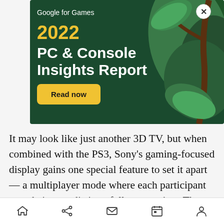[Figure (infographic): Google for Games advertisement banner. Dark green background with decorative leaf/plant illustration on the right side. Contains 'Google for Games' header with 'Read now' button at top right, large yellow '2022' year text, white 'PC & Console Insights Report' title, and a yellow 'Read now' button at the bottom left. Close (X) button at top right corner.]
It may look like just another 3D TV, but when combined with the PS3, Sony's gaming-focused display gains one special feature to set it apart — a multiplayer mode where each participant gets their own distinct, full screen view. The days of
Navigation bar with home, share, mail, calendar, and profile icons